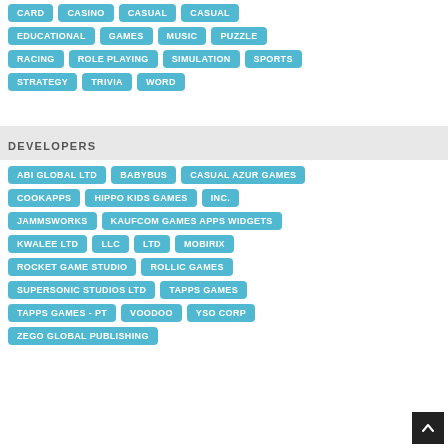CARD
CASINO
CASUAL
CASUAL
EDUCATIONAL
GAMES
MUSIC
PUZZLE
RACING
ROLE PLAYING
SIMULATION
SPORTS
STRATEGY
TRIVIA
WORD
DEVELOPERS
ABI GLOBAL LTD
BABYBUS
CASUAL AZUR GAMES
COOKAPPS
HIPPO KIDS GAMES
INC.
JAMMSWORKS
KAUFCOM GAMES APPS WIDGETS
KWALEE LTD
LLC
LTD
MOBIRIX
ROCKET GAME STUDIO
ROLLIC GAMES
SUPERSONIC STUDIOS LTD
TAPPS GAMES
TAPPS GAMES - PT
VOODOO
YSO CORP
ZEGO GLOBAL PUBLISHING